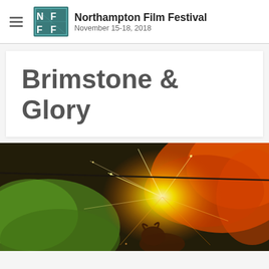Northampton Film Festival — November 15-18, 2018
Brimstone & Glory
[Figure (photo): A dramatic close-up photo showing an explosion of orange and green sparks/flames with what appears to be a hand or figure silhouetted against a bright white-yellow light burst, shot at a fireworks or pyrotechnics event.]